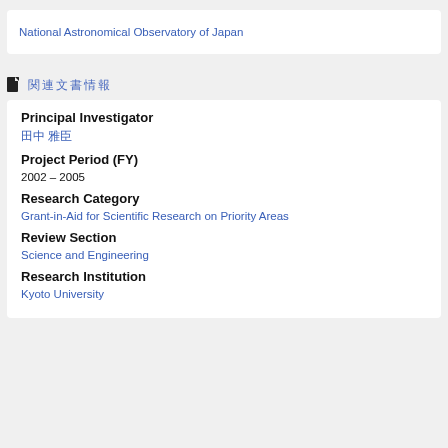National Astronomical Observatory of Japan
関連文書情報
Principal Investigator
田中 雅臣
Project Period (FY)
2002 – 2005
Research Category
Grant-in-Aid for Scientific Research on Priority Areas
Review Section
Science and Engineering
Research Institution
Kyoto University